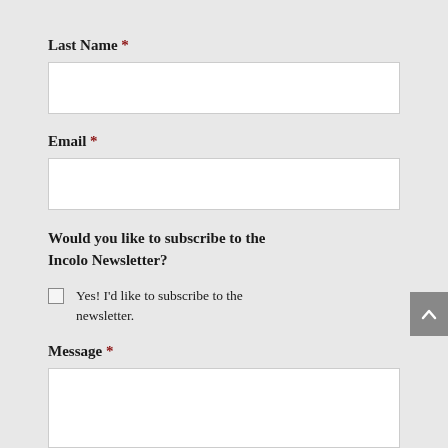Last Name *
[Figure (other): Empty text input field for Last Name]
Email *
[Figure (other): Empty text input field for Email]
Would you like to subscribe to the Incolo Newsletter?
Yes! I'd like to subscribe to the newsletter.
Message *
[Figure (other): Empty textarea input field for Message]